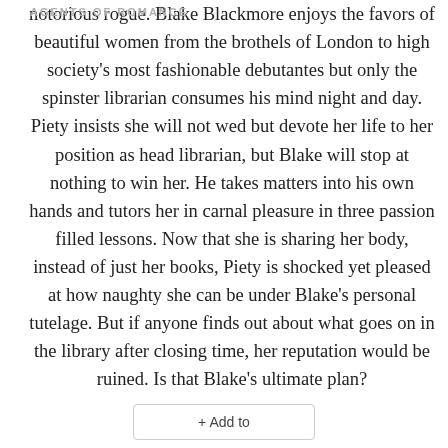AGENTS OF ROMANCE
notorious rogue. Blake Blackmore enjoys the favors of beautiful women from the brothels of London to high society's most fashionable debutantes but only the spinster librarian consumes his mind night and day. Piety insists she will not wed but devote her life to her position as head librarian, but Blake will stop at nothing to win her. He takes matters into his own hands and tutors her in carnal pleasure in three passion filled lessons. Now that she is sharing her body, instead of just her books, Piety is shocked yet pleased at how naughty she can be under Blake's personal tutelage. But if anyone finds out about what goes on in the library after closing time, her reputation would be ruined. Is that Blake's ultimate plan?